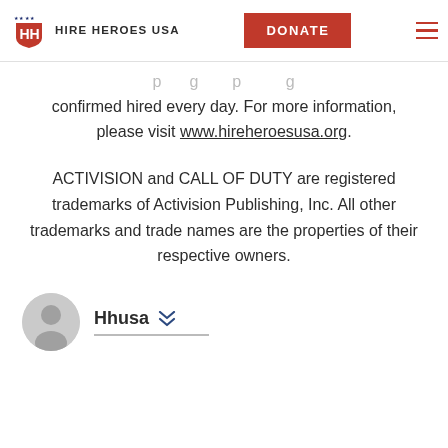Hire Heroes USA — DONATE [navigation]
confirmed hired every day. For more information, please visit www.hireheroesusa.org.
ACTIVISION and CALL OF DUTY are registered trademarks of Activision Publishing, Inc. All other trademarks and trade names are the properties of their respective owners.
Hhusa